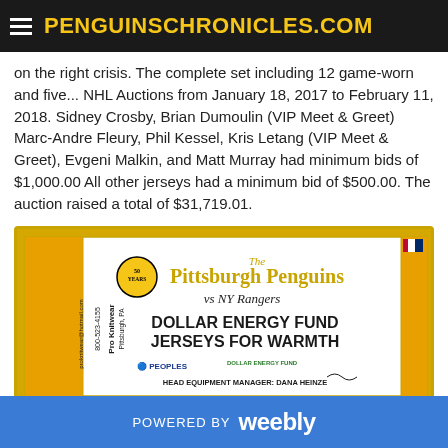PENGUINSCHRONICLES.COM
on the right crisis. The complete set including 12 game-worn and five... NHL Auctions from January 18, 2017 to February 11, 2018. Sidney Crosby, Brian Dumoulin (VIP Meet & Greet) Marc-Andre Fleury, Phil Kessel, Kris Letang (VIP Meet & Greet), Evgeni Malkin, and Matt Murray had minimum bids of $1,000.00 All other jerseys had a minimum bid of $500.00. The auction raised a total of $31,719.01.
[Figure (photo): Pittsburgh Penguins jersey patch for Dollar Energy Fund Jerseys for Warmth event vs NY Rangers on 12-20-16, showing Pro Knitwear branding, 50 Years logo, Peoples and Dollar Energy Fund logos, and signed by Head Equipment Manager Dana Heinze]
POWERED BY weebly